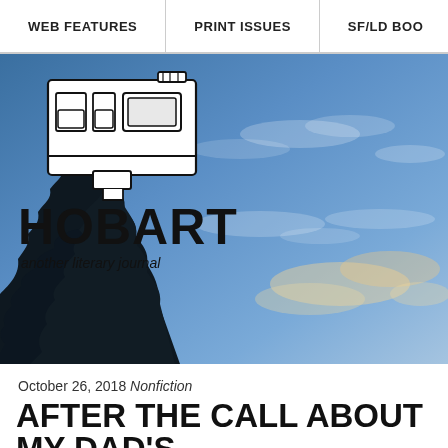WEB FEATURES | PRINT ISSUES | SF/LD BOO
[Figure (photo): Hobart literary journal website hero image showing blue sky with scattered clouds and tree silhouettes at bottom left. The Hobart logo appears over the sky with a hand-drawn camper truck illustration, the word HOBART in bold, and the tagline 'another literary journal' in handwritten font.]
October 26, 2018 Nonfiction
AFTER THE CALL ABOUT MY DAD'S BURNING DOWN